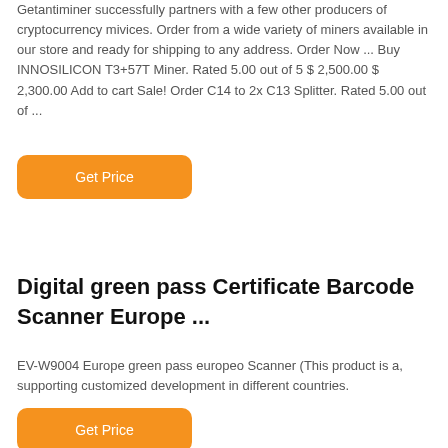Getantiminer successfully partners with a few other producers of cryptocurrency mivices. Order from a wide variety of miners available in our store and ready for shipping to any address. Order Now ... Buy INNOSILICON T3+57T Miner. Rated 5.00 out of 5 $ 2,500.00 $ 2,300.00 Add to cart Sale! Order C14 to 2x C13 Splitter. Rated 5.00 out of ...
Get Price
Digital green pass Certificate Barcode Scanner Europe ...
EV-W9004 Europe green pass europeo Scanner (This product is a, supporting customized development in different countries.
Get Price